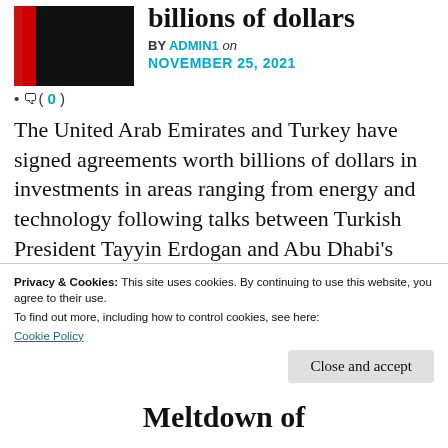[Figure (photo): UAE flag thumbnail image (black rectangle with red stripe on left side)]
billions of dollars
BY ADMIN1 on NOVEMBER 25, 2021
• ☺( 0 )
The United Arab Emirates and Turkey have signed agreements worth billions of dollars in investments in areas ranging from energy and technology following talks between Turkish President Tayyin Erdogan and Abu Dhabi's
Privacy & Cookies: This site uses cookies. By continuing to use this website, you agree to their use.
To find out more, including how to control cookies, see here:
Cookie Policy
Close and accept
Meltdown of